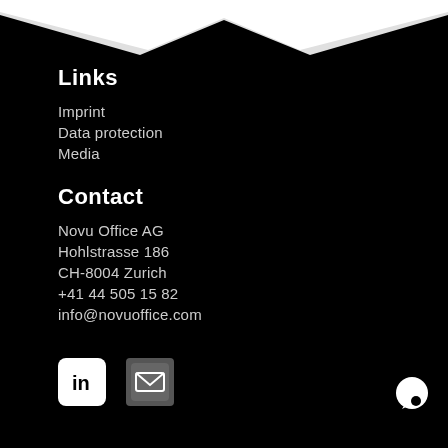[Figure (illustration): Dark wave/mountain shape at top of page]
Links
Imprint
Data protection
Media
Contact
Novu Office AG
Hohlstrasse 186
CH-8004 Zurich
+41 44 505 15 82
info@novuoffice.com
[Figure (logo): LinkedIn icon (white rounded square with 'in' logo) and email envelope icon]
[Figure (logo): Chat bubble icon in bottom right corner]